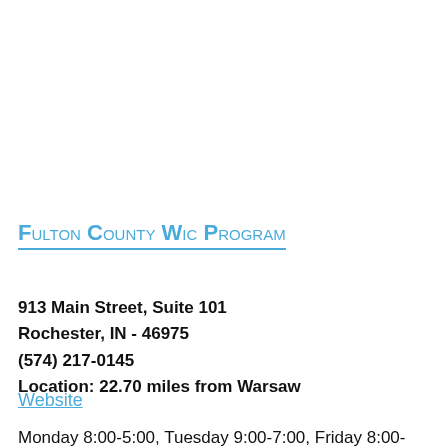Fulton County Wic Program
913 Main Street, Suite 101
Rochester, IN - 46975
(574) 217-0145
Location: 22.70 miles from Warsaw
Website
Monday 8:00-5:00, Tuesday 9:00-7:00, Friday 8:00-